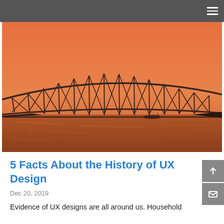≡
[Figure (photo): Photograph of a large cantilever railway bridge (Howrah Bridge) silhouetted against an orange sunset sky, with a river in the foreground reflecting the orange light.]
5 Facts About the History of UX Design
Dec 20, 2019
Evidence of UX designs are all around us. Household